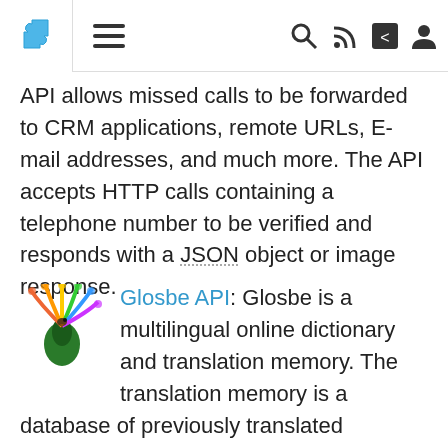[Navigation bar with puzzle icon, menu icon, search, RSS, share, and user icons]
API allows missed calls to be forwarded to CRM applications, remote URLs, E-mail addresses, and much more. The API accepts HTTP calls containing a telephone number to be verified and responds with a JSON object or image response.
Glosbe API: Glosbe is a multilingual online dictionary and translation memory. The translation memory is a database of previously translated sentences and phrases. The Glosbe API offers developer access to dictionary translations and translation memories. The API can also be used to add a translation to the Glosbe data. XML and JSON